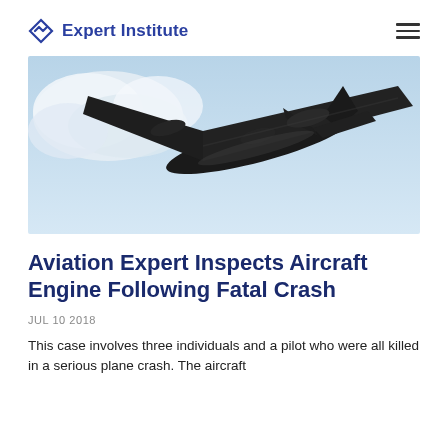Expert Institute
[Figure (photo): Underside view of a large commercial aircraft in flight against a light blue sky with some clouds]
Aviation Expert Inspects Aircraft Engine Following Fatal Crash
JUL 10 2018
This case involves three individuals and a pilot who were all killed in a serious plane crash. The aircraft…